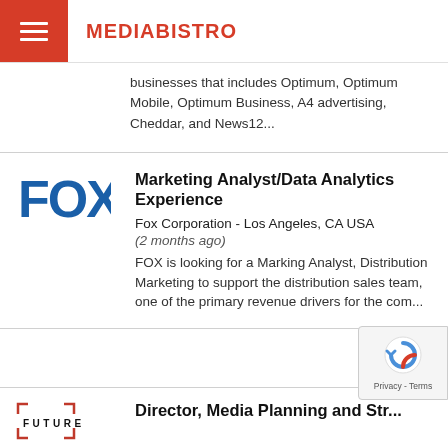MEDIABISTRO
businesses that includes Optimum, Optimum Mobile, Optimum Business, A4 advertising, Cheddar, and News12...
[Figure (logo): FOX logo in blue bold text]
Marketing Analyst/Data Analytics Experience
Fox Corporation - Los Angeles, CA USA
(2 months ago)
FOX is looking for a Marking Analyst, Distribution Marketing to support the distribution sales team, one of the primary revenue drivers for the com...
[Figure (logo): Future logo with corner marks]
Director, Media Planning and Str...